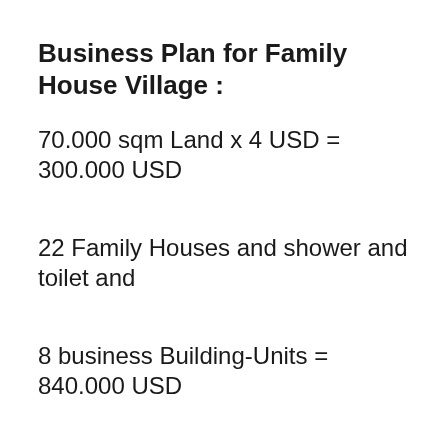Business Plan for Family House Village :
70.000 sqm Land x 4 USD = 300.000 USD
22 Family Houses and shower and toilet and
8 business Building-Units = 840.000 USD
Total Village Invest app. 1.140.000 USD